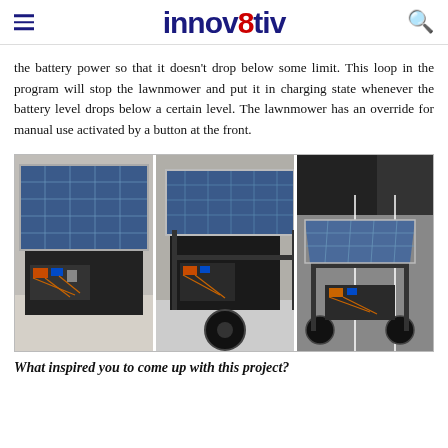innov8tiv
the battery power so that it doesn't drop below some limit. This loop in the program will stop the lawnmower and put it in charging state whenever the battery level drops below a certain level. The lawnmower has an override for manual use activated by a button at the front.
[Figure (photo): Three photos of a solar-powered robotic lawnmower prototype showing the solar panel on top and electronics/wheels below, viewed from different angles.]
What inspired you to come up with this project?